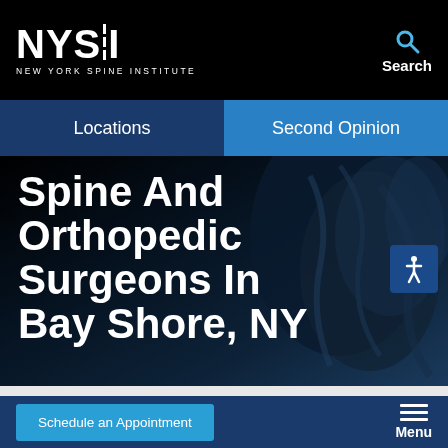NEW YORK SPINE INSTITUTE
Search
Locations
Second Opinion
Spine And Orthopedic Surgeons In Bay Shore, NY
[Figure (illustration): Background anatomical/spine illustration with dark blue gradient and human anatomy silhouette on the right side]
Schedule an Appointment
Menu